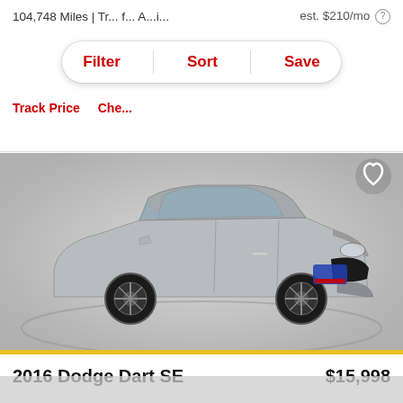104,748 Miles | Tr... f... A... ib...
est. $210/mo ?
Filter  Sort  Save
Track Price  Che...
[Figure (photo): Silver 2016 Dodge Dart SE sedan photographed on a white turntable showroom platform, three-quarter front view, with black alloy wheels. A heart/favorite icon appears in the upper right corner of the image.]
2016 Dodge Dart SE
$15,998